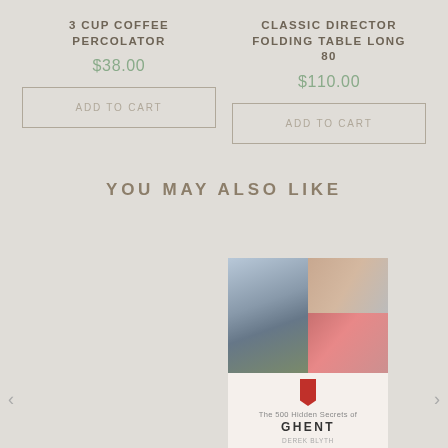3 CUP COFFEE PERCOLATOR
$38.00
ADD TO CART
CLASSIC DIRECTOR FOLDING TABLE LONG 80
$110.00
ADD TO CART
YOU MAY ALSO LIKE
[Figure (photo): Book cover: The 500 Hidden Secrets of GHENT by Derek Blyth, showing collage of city photographs on the cover with a red bookmark icon]